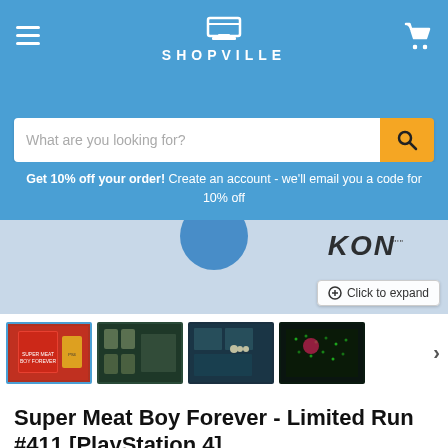SHOPVILLE
What are you looking for?
Get 10% off your order! Create an account - we'll email you a code for 10% off
[Figure (screenshot): Partial product image showing a blue circle and stylized 'KON' text with a 'Click to expand' button overlay]
[Figure (screenshot): Row of four product thumbnails for Super Meat Boy Forever showing game cover and gameplay screenshots]
Super Meat Boy Forever - Limited Run #411 [PlayStation 4]
by Limited Run